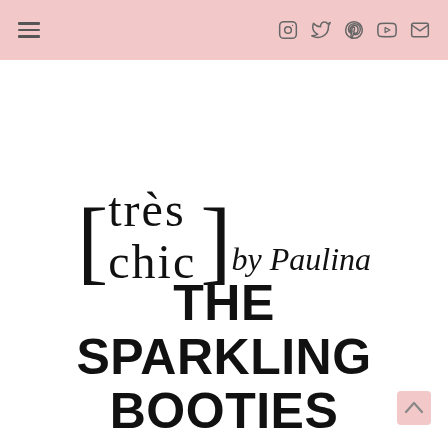Navigation bar with hamburger menu and social icons (Instagram, Twitter, Pinterest, YouTube, Email)
[Figure (logo): Très chic by Paulina logo — bracket-enclosed 'très chic' in serif font with cursive 'by Paulina' script]
THE SPARKLING BOOTIES